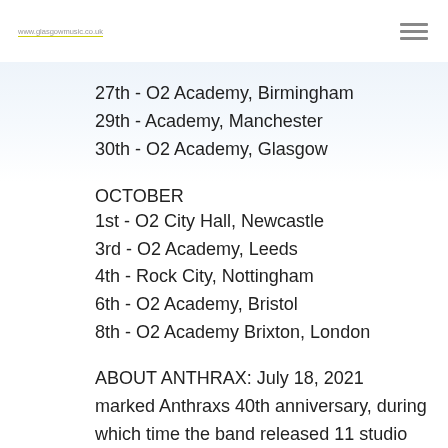www.glasgowmusic.co.uk
27th - O2 Academy, Birmingham
29th - Academy, Manchester
30th - O2 Academy, Glasgow
OCTOBER
1st - O2 City Hall, Newcastle
3rd - O2 Academy, Leeds
4th - Rock City, Nottingham
6th - O2 Academy, Bristol
8th - O2 Academy Brixton, London
ABOUT ANTHRAX: July 18, 2021 marked Anthraxs 40th anniversary, during which time the band released 11 studio albums, was awarded multiple